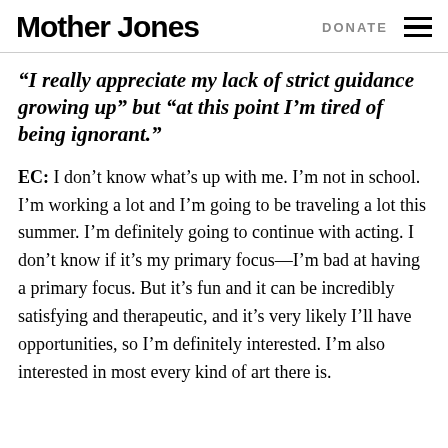Mother Jones | DONATE
“I really appreciate my lack of strict guidance growing up” but “at this point I’m tired of being ignorant.”
EC: I don’t know what’s up with me. I’m not in school. I’m working a lot and I’m going to be traveling a lot this summer. I’m definitely going to continue with acting. I don’t know if it’s my primary focus—I’m bad at having a primary focus. But it’s fun and it can be incredibly satisfying and therapeutic, and it’s very likely I’ll have opportunities, so I’m definitely interested. I’m also interested in most every kind of art there is.